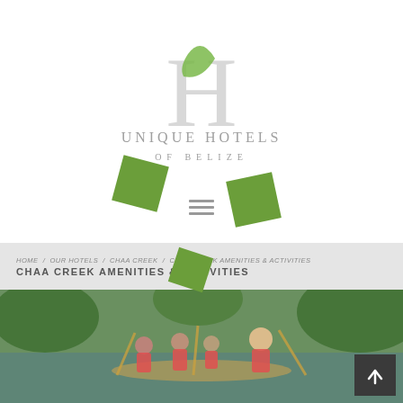[Figure (logo): Unique Hotels of Belize logo — stylized H letterform in gray with a green leaf accent, text 'UNIQUE HOTELS OF BELIZE' below in gray]
[Figure (infographic): Three decorative green rotated squares overlaid on the page as design elements]
≡  (hamburger menu icon)
HOME  /  OUR HOTELS  /  CHAA CREEK  /  CHAA CREEK AMENITIES & ACTIVITIES
CHAA CREEK AMENITIES & ACTIVITIES
[Figure (photo): Group of children and adults in red life vests paddling a canoe on a jungle river, lush green vegetation in background]